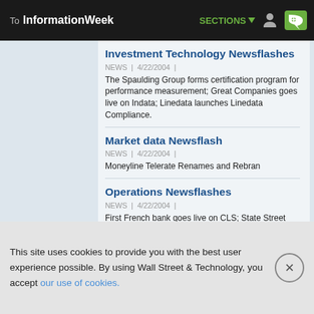To InformationWeek | SECTIONS
Investment Technology Newsflashes
NEWS | 4/22/2004 |
The Spaulding Group forms certification program for performance measurement; Great Companies goes live on Indata; Linedata launches Linedata Compliance.
Market data Newsflash
NEWS | 4/22/2004 |
Moneyline Telerate Renames and Rebran
Operations Newsflashes
NEWS | 4/22/2004 |
First French bank goes live on CLS; State Street Wins New Clients in Taiwan
Risk News flashes
NEWS | 4/22/2004 |
Creditex will integrate Market-it Partners' data into its credit derivatives platform; Volteq Capital chooses
This site uses cookies to provide you with the best user experience possible. By using Wall Street & Technology, you accept our use of cookies.